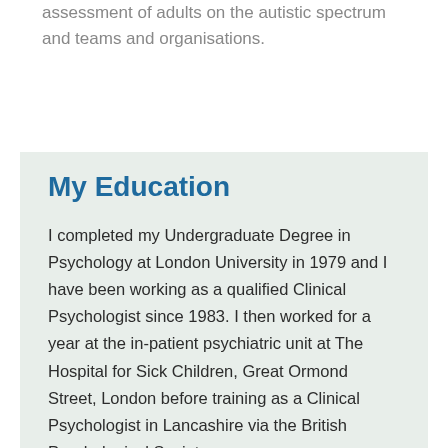assessment of adults on the autistic spectrum and teams and organisations.
My Education
I completed my Undergraduate Degree in Psychology at London University in 1979 and I have been working as a qualified Clinical Psychologist since 1983. I then worked for a year at the in-patient psychiatric unit at The Hospital for Sick Children, Great Ormond Street, London before training as a Clinical Psychologist in Lancashire via the British Psychological Society